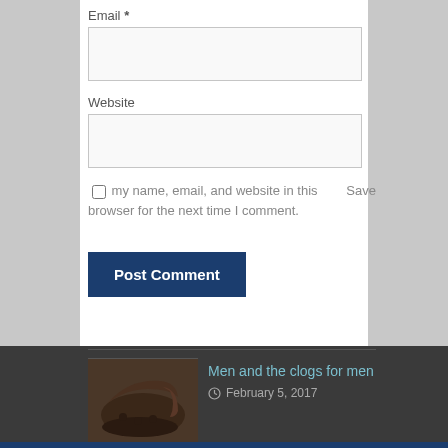Email *
Website
Save my name, email, and website in this browser for the next time I comment.
Post Comment
Men and the clogs for men
February 5, 2017